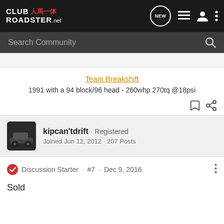Club Roadster .net — navigation bar with NEW, list, user, and menu icons
Search Community
Team Breakshift
1991 with a 94 block/96 head - 260whp 270tq @18psi
kipcan'tdrift · Registered
Joined Jun 12, 2012 · 207 Posts
Discussion Starter · #7 · Dec 9, 2016
Sold